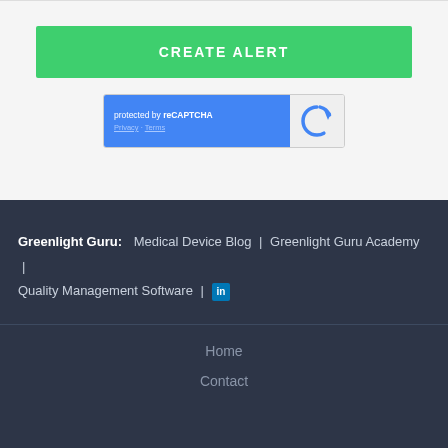CREATE ALERT
[Figure (screenshot): reCAPTCHA widget showing 'protected by reCAPTCHA' with Privacy and Terms links on a blue background, and the reCAPTCHA logo on the right]
Greenlight Guru: Medical Device Blog | Greenlight Guru Academy | Quality Management Software | LinkedIn
Home
Contact